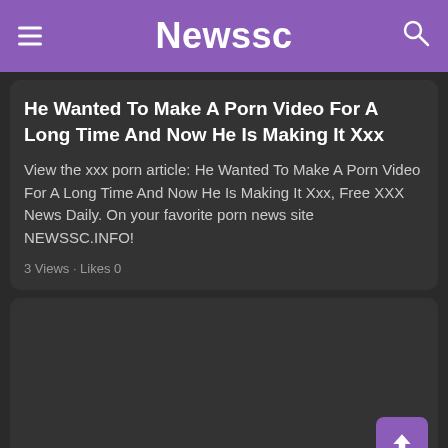Newssc
He Wanted To Make A Porn Video For A Long Time And Now He Is Making It Xxx
View the xxx porn article: He Wanted To Make A Porn Video For A Long Time And Now He Is Making It Xxx, Free XXX News Daily. On your favorite porn news site NEWSSC.INFO!
3 Views · Likes 0
[Figure (photo): Dark image placeholder for second article card]
She always makes love with the first man that...